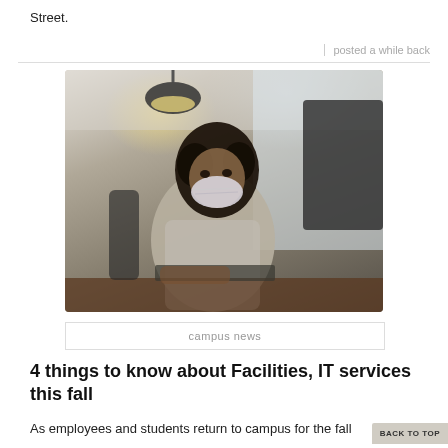Street.
posted a while back
[Figure (photo): A woman wearing a floral face mask sitting at a desk with a computer monitor in an office setting. Bright window light in background, dark pendant lamp visible above.]
campus news
4 things to know about Facilities, IT services this fall
As employees and students return to campus for the fall
BACK TO TOP